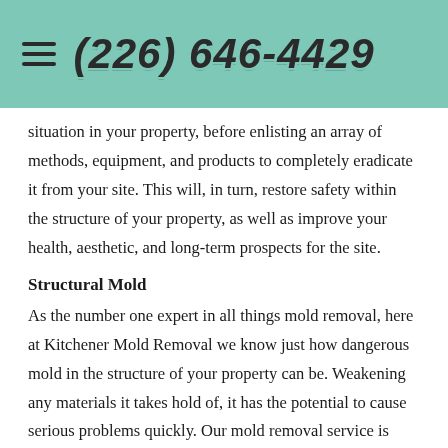(226) 646-4429
situation in your property, before enlisting an array of methods, equipment, and products to completely eradicate it from your site. This will, in turn, restore safety within the structure of your property, as well as improve your health, aesthetic, and long-term prospects for the site.
Structural Mold
As the number one expert in all things mold removal, here at Kitchener Mold Removal we know just how dangerous mold in the structure of your property can be. Weakening any materials it takes hold of, it has the potential to cause serious problems quickly. Our mold removal service is efficient and effective, dealing with all areas of your site, whether commercial or residential, efficiently and effectively. Our structural mold